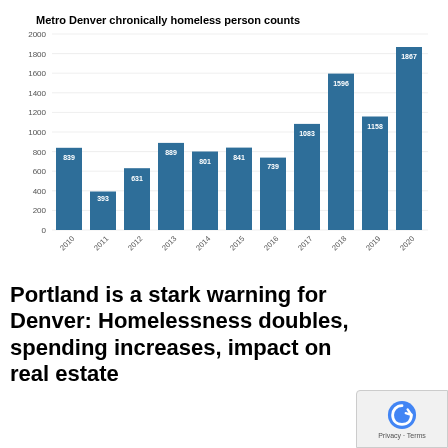[Figure (bar-chart): Metro Denver chronically homeless person counts]
Portland is a stark warning for Denver: Homelessness doubles, spending increases, impact on real estate